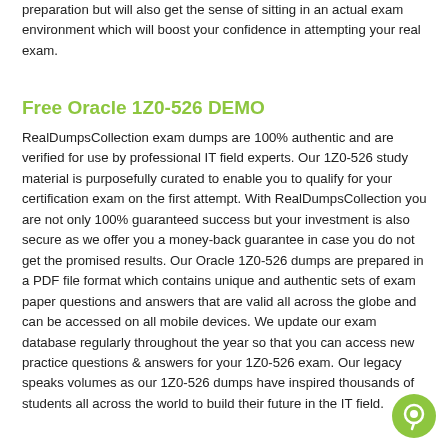preparation but will also get the sense of sitting in an actual exam environment which will boost your confidence in attempting your real exam.
Free Oracle 1Z0-526 DEMO
RealDumpsCollection exam dumps are 100% authentic and are verified for use by professional IT field experts. Our 1Z0-526 study material is purposefully curated to enable you to qualify for your certification exam on the first attempt. With RealDumpsCollection you are not only 100% guaranteed success but your investment is also secure as we offer you a money-back guarantee in case you do not get the promised results. Our Oracle 1Z0-526 dumps are prepared in a PDF file format which contains unique and authentic sets of exam paper questions and answers that are valid all across the globe and can be accessed on all mobile devices. We update our exam database regularly throughout the year so that you can access new practice questions & answers for your 1Z0-526 exam. Our legacy speaks volumes as our 1Z0-526 dumps have inspired thousands of students all across the world to build their future in the IT field.